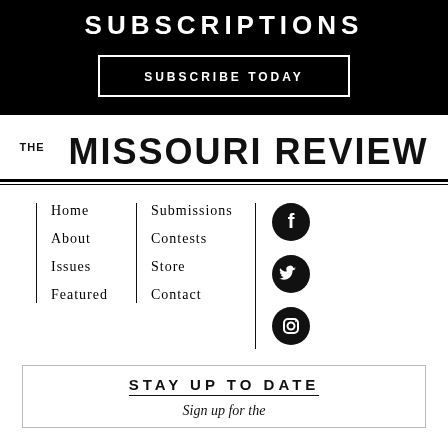SUBSCRIPTIONS
SUBSCRIBE TODAY
THE MISSOURI REVIEW
Home
About
Issues
Featured
Submissions
Contests
Store
Contact
[Figure (logo): Facebook icon - black circle with white f]
[Figure (logo): Twitter icon - black circle with white bird]
[Figure (logo): Instagram icon - black circle with white camera]
STAY UP TO DATE
Sign up for the